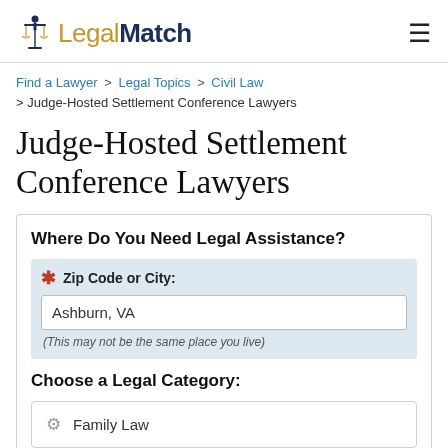[Figure (logo): LegalMatch logo with scales of justice icon and two-tone wordmark]
Find a Lawyer > Legal Topics > Civil Law > Judge-Hosted Settlement Conference Lawyers
Judge-Hosted Settlement Conference Lawyers
Where Do You Need Legal Assistance?
* Zip Code or City: Ashburn, VA (This may not be the same place you live)
Choose a Legal Category:
Family Law